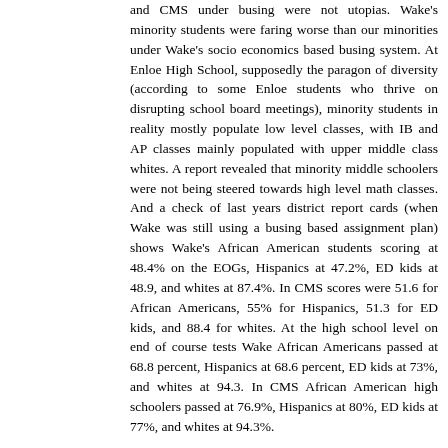and CMS under busing were not utopias. Wake's minority students were faring worse than our minorities under Wake's socio economics based busing system. At Enloe High School, supposedly the paragon of diversity (according to some Enloe students who thrive on disrupting school board meetings), minority students in reality mostly populate low level classes, with IB and AP classes mainly populated with upper middle class whites. A report revealed that minority middle schoolers were not being steered towards high level math classes. And a check of last years district report cards (when Wake was still using a busing based assignment plan) shows Wake's African American students scoring at 48.4% on the EOGs, Hispanics at 47.2%, ED kids at 48.9, and whites at 87.4%. In CMS scores were 51.6 for African Americans, 55% for Hispanics, 51.3 for ED kids, and 88.4 for whites. At the high school level on end of course tests Wake African Americans passed at 68.8 percent, Hispanics at 68.6 percent, ED kids at 73%, and whites at 94.3. In CMS African American high schoolers passed at 76.9%, Hispanics at 80%, ED kids at 77%, and whites at 94.3%. A school board with the intent to change the Wake system was legitimately and resoundingly elected in 2009. But the